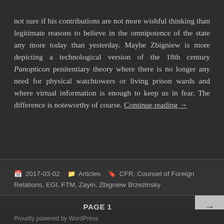not sure if his contributions are not more wishful thinking than legitimate reasons to believe in the omnipotence of the state any more today than yesterday. Maybe Zbigniew is more depicting a technological version of the 18th century Panopticon penitentiary theory where there is no longer any need for physical watchtowers or living prison wards and where virtual information is enough to keep us in fear. The difference is noteworthy of course. Continue reading →
2017-03-02   Articles   CFR, Counsel of Foreign Relations, EGI, FTM, Zayin, Zbigniew Brzezinsky
PAGE 1
Proudly powered by WordPress